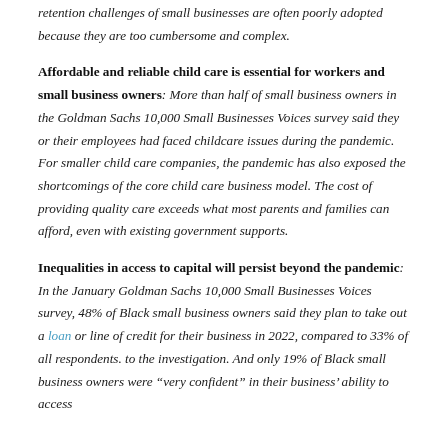retention challenges of small businesses are often poorly adopted because they are too cumbersome and complex.
Affordable and reliable child care is essential for workers and small business owners: More than half of small business owners in the Goldman Sachs 10,000 Small Businesses Voices survey said they or their employees had faced childcare issues during the pandemic. For smaller child care companies, the pandemic has also exposed the shortcomings of the core child care business model. The cost of providing quality care exceeds what most parents and families can afford, even with existing government supports.
Inequalities in access to capital will persist beyond the pandemic: In the January Goldman Sachs 10,000 Small Businesses Voices survey, 48% of Black small business owners said they plan to take out a loan or line of credit for their business in 2022, compared to 33% of all respondents. to the investigation. And only 19% of Black small business owners were "very confident" in their business' ability to access